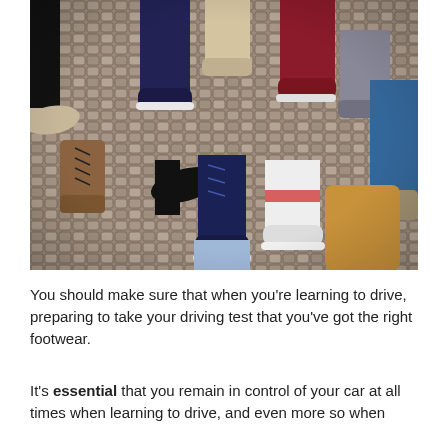[Figure (photo): Aerial view of multiple people standing in a circle on a cobblestone surface, showing only their feet and lower legs wearing various shoes and sneakers of different colors.]
You should make sure that when you're learning to drive, preparing to take your driving test that you've got the right footwear.
It's essential that you remain in control of your car at all times when learning to drive, and even more so when